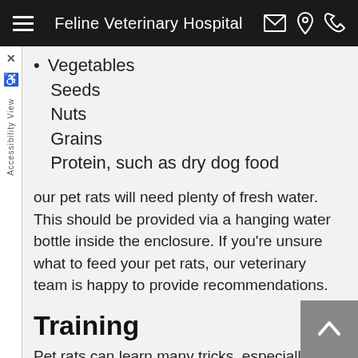Feline Veterinary Hospital
Vegetables
Seeds
Nuts
Grains
Protein, such as dry dog food
Your pet rats will need plenty of fresh water. This should be provided via a hanging water bottle inside the enclosure. If you're unsure what to feed your pet rats, our veterinary team is happy to provide recommendations.
Training
Pet rats can learn many tricks, especially if trained young. These may include coming when called, standing on command, shaking hands, and more. Use gentle treatment and lots of love when training your rat to do tricks, and use